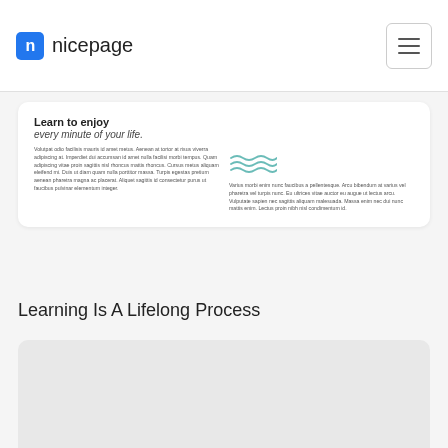nicepage
Learn to enjoy every minute of your life.
Volutpat odio facilisis mauris id amet metus. Aenean at tortor at risus viverra adipiscing at. Imperdiet dui accumsan id amet nulla facilisi morbi tempus. Quam adipiscing vitae proin sagittis nisl rhoncus mattis rhoncus. Cursus metus aliquam eleifend mi. Duis ut diam quam nulla porttitor massa. Turpis egestas pretium aenean pharetra magna ac placerat. Aliquet sagittis id consectetur purus ut faucibus pulvinar elementum integer.
[Figure (illustration): Wave/squiggle decorative lines icon in teal/blue color]
Varius morbi enim nunc faucibus a pellentesque. Arcu bibendum at varius vel pharetra vel turpis nunc. Eu ultrices vitae auctor eu augue ut lectus arcu. Vulputate sapien nec sagittis aliquam malesuada. Massa enim nec dui nunc mattis enim. Lectus proin nibh nisl condimentum id.
Learning Is A Lifelong Process
[Figure (illustration): Large light grey placeholder card/image area]